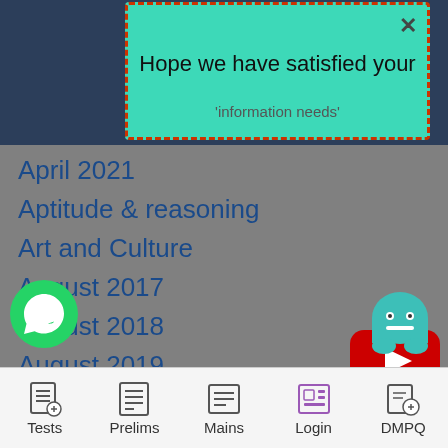[Figure (screenshot): Top navy blue header bar background]
[Figure (infographic): Teal popup dialog with dashed red border showing 'Hope we have satisfied your' text and an X close button]
April 2021
Aptitude & reasoning
Art and Culture
August 2017
August 2018
August 2019
August 2021
Beginers
Behavior
Biology Booster
Biotechnology
[Figure (logo): YouTube red play button icon]
[Figure (logo): WhatsApp green phone icon]
[Figure (logo): Ghost/chat icon in teal]
[Figure (screenshot): Bottom navigation bar with Tests, Prelims, Mains, Login, DMPQ icons]